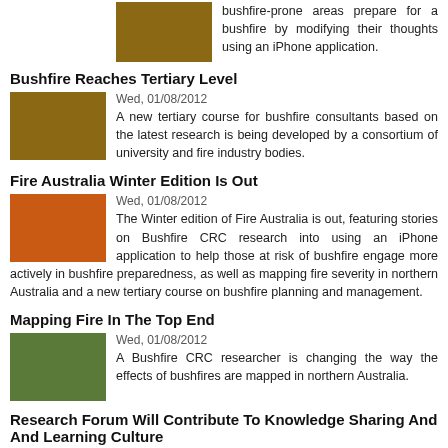bushfire-prone areas prepare for a bushfire by modifying their thoughts using an iPhone application.
Bushfire Reaches Tertiary Level
Wed, 01/08/2012
A new tertiary course for bushfire consultants based on the latest research is being developed by a consortium of university and fire industry bodies.
Fire Australia Winter Edition Is Out
Wed, 01/08/2012
The Winter edition of Fire Australia is out, featuring stories on Bushfire CRC research into using an iPhone application to help those at risk of bushfire engage more actively in bushfire preparedness, as well as mapping fire severity in northern Australia and a new tertiary course on bushfire planning and management.
Mapping Fire In The Top End
Wed, 01/08/2012
A Bushfire CRC researcher is changing the way the effects of bushfires are mapped in northern Australia.
Research Forum Will Contribute To Knowledge Sharing And And Learning Culture
Tue, 31/07/2012
The first day of the Bushfire CRC-AFAC conference is a dedicated Research Forum tailored for emergency management personnel